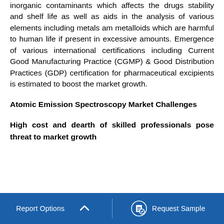inorganic contaminants which affects the drugs stability and shelf life as well as aids in the analysis of various elements including metals am metalloids which are harmful to human life if present in excessive amounts. Emergence of various international certifications including Current Good Manufacturing Practice (CGMP) & Good Distribution Practices (GDP) certification for pharmaceutical excipients is estimated to boost the market growth.
Atomic Emission Spectroscopy Market Challenges
High cost and dearth of skilled professionals pose threat to market growth
Report Options   ^   Request Sample